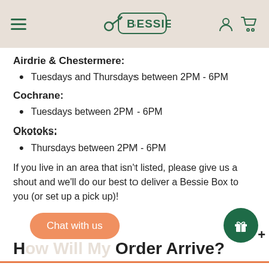Bessie - logo and navigation header
Airdrie & Chestermere:
Tuesdays and Thursdays between 2PM - 6PM
Cochrane:
Tuesdays between 2PM - 6PM
Okotoks:
Thursdays between 2PM - 6PM
If you live in an area that isn't listed, please give us a shout and we'll do our best to deliver a Bessie Box to you (or set up a pick up)!
How Will My Order Arrive?